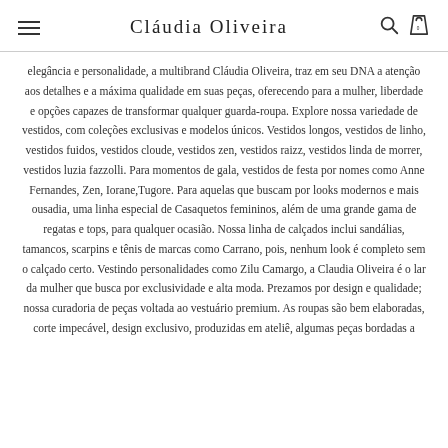Cláudia Oliveira
elegância e personalidade, a multibrand Cláudia Oliveira, traz em seu DNA a atenção aos detalhes e a máxima qualidade em suas peças, oferecendo para a mulher, liberdade e opções capazes de transformar qualquer guarda-roupa. Explore nossa variedade de vestidos, com coleções exclusivas e modelos únicos. Vestidos longos, vestidos de linho, vestidos fuidos, vestidos cloude, vestidos zen, vestidos raizz, vestidos linda de morrer, vestidos luzia fazzolli. Para momentos de gala, vestidos de festa por nomes como Anne Fernandes, Zen, Iorane,Tugore. Para aquelas que buscam por looks modernos e mais ousadia, uma linha especial de Casaquetos femininos, além de uma grande gama de regatas e tops, para qualquer ocasião. Nossa linha de calçados inclui sandálias, tamancos, scarpins e tênis de marcas como Carrano, pois, nenhum look é completo sem o calçado certo. Vestindo personalidades como Zilu Camargo, a Claudia Oliveira é o lar da mulher que busca por exclusividade e alta moda. Prezamos por design e qualidade; nossa curadoria de peças voltada ao vestuário premium. As roupas são bem elaboradas, corte impecável, design exclusivo, produzidas em ateliê, algumas peças bordadas a